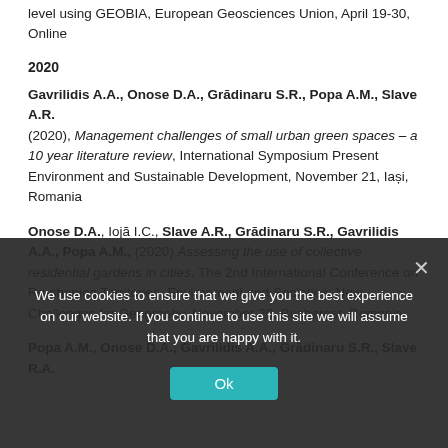level using GEOBIA, European Geosciences Union, April 19-30, Online
2020
Gavrilidis A.A., Onose D.A., Grădinaru S.R., Popa A.M., Slave A.R. (2020), Management challenges of small urban green spaces – a 10 year literature review, International Symposium Present Environment and Sustainable Development, November 21, Iași, Romania
Onose D.A., Iojă I.C., Slave A.R., Grădinaru S.R., Gavrilidis A.A., Popa A.M., (2020) Assessing the use of collective residential gardens in cities, The 2nd International Conference on Re-shaping Territories, Environment and Societies: New Challenges for Geography, November 20, Bucharest, Romania
Popa A.M., Onose D.A., Gavrilidis A.A., Grădinaru S.R., Slave R.A.